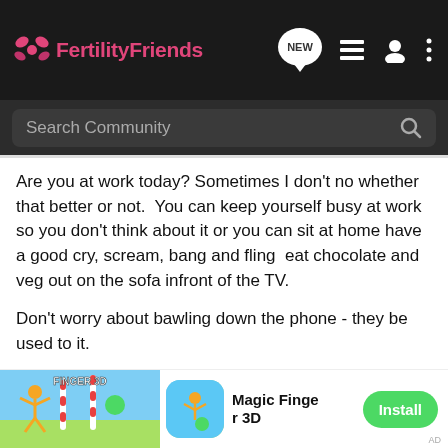[Figure (screenshot): FertilityFriends app header with logo, NEW chat bubble icon, list icon, user icon, and three-dot menu icon on dark background]
[Figure (screenshot): Search Community search bar on dark grey background with magnifying glass icon]
Are you at work today? Sometimes I don't no whether that better or not.  You can keep yourself busy at work so you don't think about it or you can sit at home have a good cry, scream, bang and fling  eat chocolate and veg out on the sofa infront of the TV.
Don't worry about bawling down the phone - they be used to it.
I've been drinking the pineapple was well - I even make DH drink it. Every morning he has a glass to feed his 'boys' and I have a glass for the 'incubator' but when AF puts in an appearance stuff the pineapple she demands chips and chocola
[Figure (screenshot): Mobile advertisement banner for 'Magic Finger 3D' game showing game screenshot, app icon, game name, and green Install button]